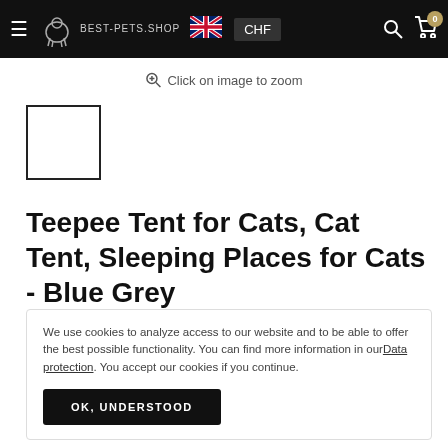BEST-PETS.SHOP | CHF | Navigation bar
Click on image to zoom
[Figure (photo): Small white thumbnail placeholder image with black border]
Teepee Tent for Cats, Cat Tent, Sleeping Places for Cats - Blue Grey
We use cookies to analyze access to our website and to be able to offer the best possible functionality. You can find more information in our Data protection. You accept our cookies if you continue. OK, UNDERSTOOD